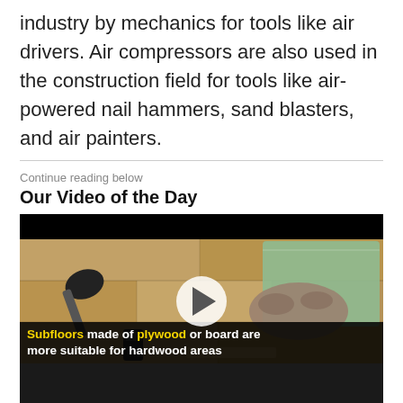industry by mechanics for tools like air drivers. Air compressors are also used in the construction field for tools like air-powered nail hammers, sand blasters, and air painters.
Continue reading below
Our Video of the Day
[Figure (screenshot): Video thumbnail showing hardwood flooring installation tools on a wood floor — rubber mallet, work gloves, green underlayment pad, small tools. Play button overlay. Subtitle reads: 'Subfloors made of plywood or board are more suitable for hardwood areas']